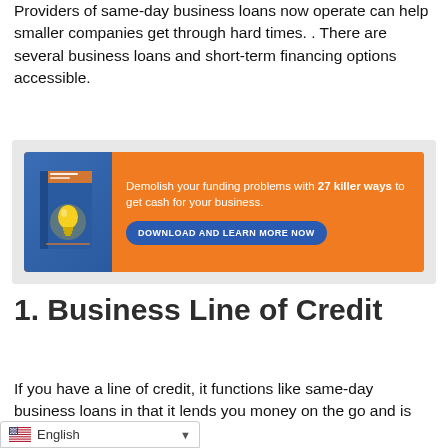Providers of same-day business loans now operate can help smaller companies get through hard times. . There are several business loans and short-term financing options accessible.
[Figure (illustration): Advertisement banner with orange background showing a blue book with lightbulb on cover, and text: 'Demolish your funding problems with 27 killer ways to get cash for your business.' with a blue button 'DOWNLOAD AND LEARN MORE NOW']
1. Business Line of Credit
If you have a line of credit, it functions like same-day business loans in that it lends you money on the go and is [available when] you need it. As you